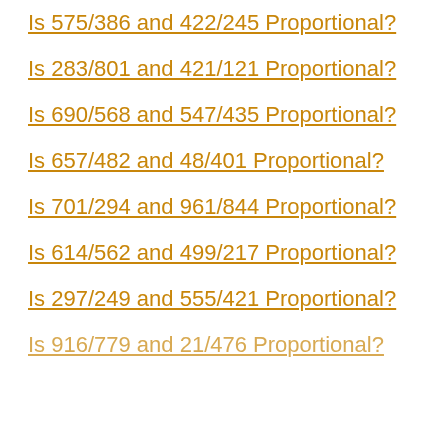Is 575/386 and 422/245 Proportional?
Is 283/801 and 421/121 Proportional?
Is 690/568 and 547/435 Proportional?
Is 657/482 and 48/401 Proportional?
Is 701/294 and 961/844 Proportional?
Is 614/562 and 499/217 Proportional?
Is 297/249 and 555/421 Proportional?
Is 916/779 and 21/476 Proportional?